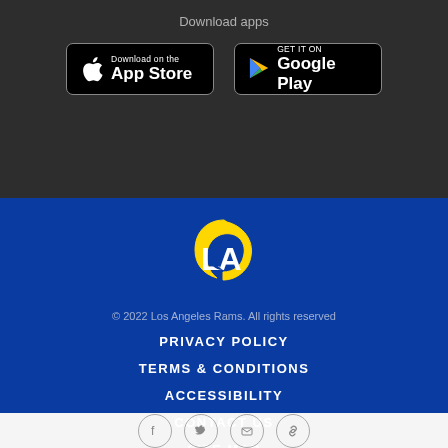Download apps
[Figure (logo): App Store download button]
[Figure (logo): Google Play download button]
[Figure (logo): Los Angeles Rams LA logo in blue, white and gold]
© 2022 Los Angeles Rams. All rights reserved
PRIVACY POLICY
TERMS & CONDITIONS
ACCESSIBILITY
CONTACT US
SITE MAP
[Figure (other): Social media icons: Facebook, Twitter, Email, Link]